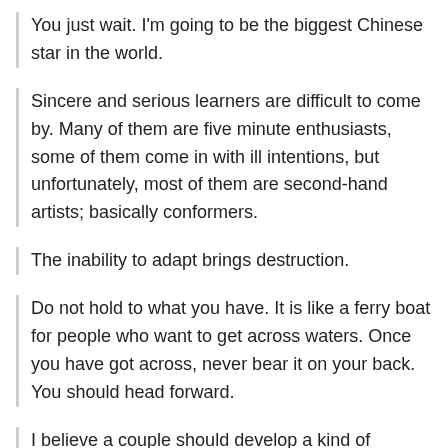You just wait. I'm going to be the biggest Chinese star in the world.
Sincere and serious learners are difficult to come by. Many of them are five minute enthusiasts, some of them come in with ill intentions, but unfortunately, most of them are second-hand artists; basically conformers.
The inability to adapt brings destruction.
Do not hold to what you have. It is like a ferry boat for people who want to get across waters. Once you have got across, never bear it on your back. You should head forward.
I believe a couple should develop a kind of friendship. Linda and I have this kind of friendship. We